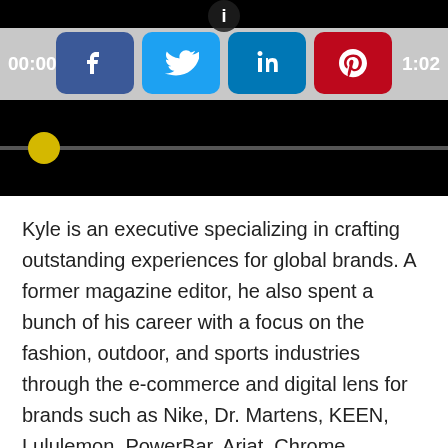[Figure (screenshot): Video player interface showing social sharing buttons (Facebook, Twitter, LinkedIn, Pinterest), time indicators 00:00 and 1:02, and a yellow playhead on a progress bar over a black background.]
Kyle is an executive specializing in crafting outstanding experiences for global brands. A former magazine editor, he also spent a bunch of his career with a focus on the fashion, outdoor, and sports industries through the e-commerce and digital lens for brands such as Nike, Dr. Martens, KEEN, Lululemon, PowerBar, Ariat, Chrome Industries, Nuun, and others. Kyle's unique blend of design, branding, and digital best practices lends itself